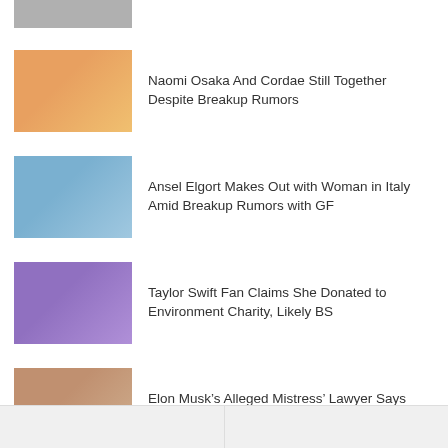[Figure (photo): Partial top image of two people, cropped at top of page]
Naomi Osaka And Cordae Still Together Despite Breakup Rumors
Ansel Elgort Makes Out with Woman in Italy Amid Breakup Rumors with GF
Taylor Swift Fan Claims She Donated to Environment Charity, Likely BS
Elon Musk’s Alleged Mistress’ Lawyer Says Story is a Lie